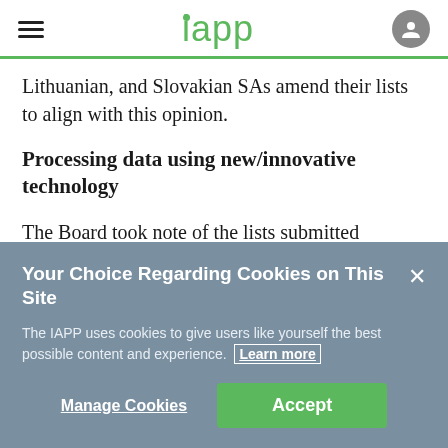iapp
Lithuanian, and Slovakian SAs amend their lists to align with this opinion.
Processing data using new/innovative technology
The Board took note of the lists submitted
Your Choice Regarding Cookies on This Site
The IAPP uses cookies to give users like yourself the best possible content and experience. Learn more
Manage Cookies   Accept